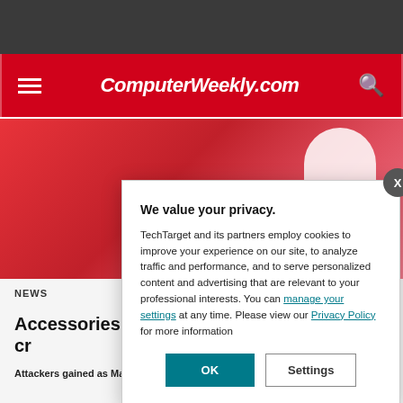ComputerWeekly.com
[Figure (screenshot): Red background image area with partial doctor figure]
THODONAL - STOCK.ADOBE.COM
NEWS
Accessories Magecart cr
Attackers gained as March
We value your privacy. TechTarget and its partners employ cookies to improve your experience on our site, to analyze traffic and performance, and to serve personalized content and advertising that are relevant to your professional interests. You can manage your settings at any time. Please view our Privacy Policy for more information